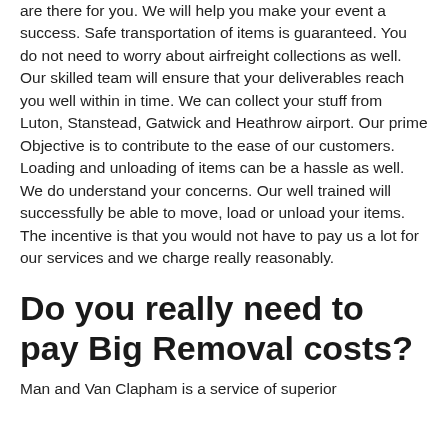are there for you. We will help you make your event a success. Safe transportation of items is guaranteed. You do not need to worry about airfreight collections as well. Our skilled team will ensure that your deliverables reach you well within in time. We can collect your stuff from Luton, Stanstead, Gatwick and Heathrow airport. Our prime Objective is to contribute to the ease of our customers. Loading and unloading of items can be a hassle as well. We do understand your concerns. Our well trained will successfully be able to move, load or unload your items. The incentive is that you would not have to pay us a lot for our services and we charge really reasonably.
Do you really need to pay Big Removal costs?
Man and Van Clapham is a service of superior